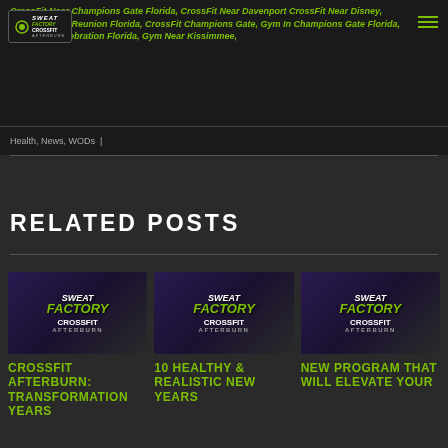CrossFit Near Champions Gate Florida, CrossFit Near Davenport CrossFit Near Disney, CrossFit Near Reunion Florida, CrossFit Champions Gate, Gym In Champions Gate Florida, Gym Near Celebration Florida, Gym Near Kissimmee, Health, News, WODs |
RELATED POSTS
[Figure (logo): Sweat Factory CrossFit Afterburn logo - card image 1]
[Figure (logo): Sweat Factory CrossFit Afterburn logo - card image 2]
[Figure (logo): Sweat Factory CrossFit Afterburn logo - card image 3]
CROSSFIT AFTERBURN: TRANSFORMATION YEARS
10 HEALTHY & REALISTIC NEW YEARS
NEW PROGRAM THAT WILL ELEVATE YOUR